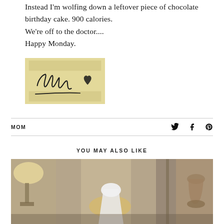Instead I'm wolfing down a leftover piece of chocolate birthday cake. 900 calories.
We're off to the doctor....
Happy Monday.
[Figure (illustration): Handwritten cursive signature reading 'Melissa' with a heart, on a tan/beige striped background]
MOM
YOU MAY ALSO LIKE
[Figure (photo): Interior photograph showing a room with a lamp, a person in a white hat/outfit, and wooden furniture with a vase in the background]